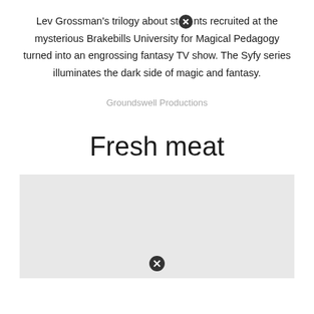Lev Grossman's trilogy about students recruited at the mysterious Brakebills University for Magical Pedagogy turned into an engrossing fantasy TV show. The Syfy series illuminates the dark side of magic and fantasy.
Groundswell Productions
Fresh meat
[Figure (photo): A light gray image placeholder with a close/error icon centered at the bottom]